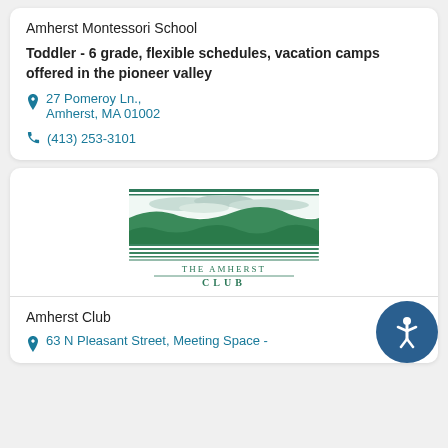Amherst Montessori School
Toddler - 6 grade, flexible schedules, vacation camps offered in the pioneer valley
27 Pomeroy Ln., Amherst, MA 01002
(413) 253-3101
[Figure (logo): The Amherst Club logo: green etching-style illustration of rural landscape with fields and trees, text reading THE AMHERST CLUB below]
Amherst Club
63 N Pleasant Street, Meeting Space -